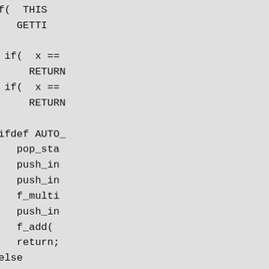[Figure (screenshot): A cropped view of a wide document page showing source code. Left portion is light gray, a bright green vertical stripe divides it from a lighter green panel, and the right portion shows C/Pike source code on a light gray background. The code includes conditional statements, preprocessor directives (#ifdef AUTO_, #else, #endif), function calls (pop_stack, push_int, f_multiply, f_add, return), a PIKEFUN declaration, and a block comment starting with @decl.]